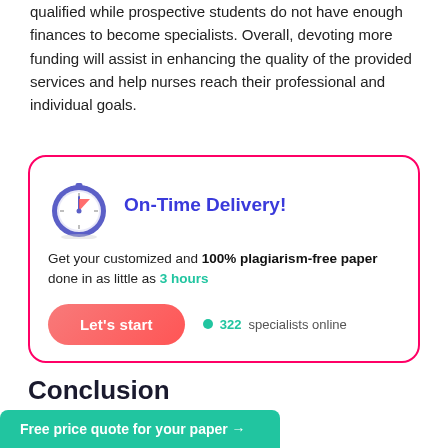qualified while prospective students do not have enough finances to become specialists. Overall, devoting more funding will assist in enhancing the quality of the provided services and help nurses reach their professional and individual goals.
[Figure (infographic): On-Time Delivery promotional box with clock icon, text about 100% plagiarism-free paper done in as little as 3 hours, a Let's start button, and 322 specialists online indicator]
Conclusion
Free price quote for your paper →